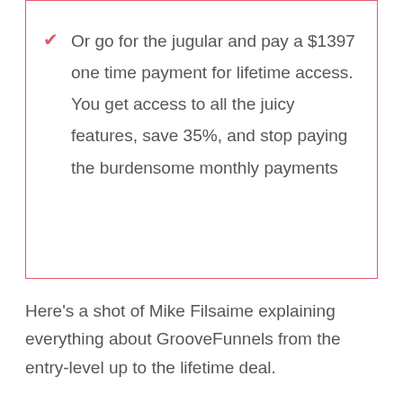Or go for the jugular and pay a $1397 one time payment for lifetime access. You get access to all the juicy features, save 35%, and stop paying the burdensome monthly payments
Here's a shot of Mike Filsaime explaining everything about GrooveFunnels from the entry-level up to the lifetime deal.